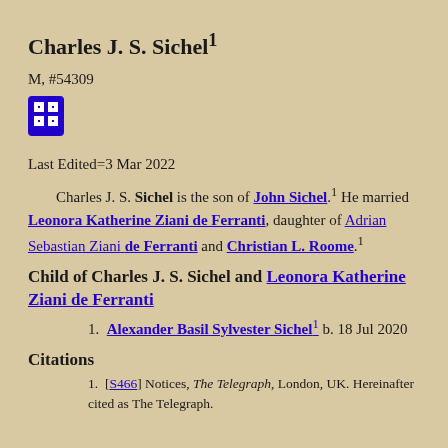Charles J. S. Sichel¹
M, #54309
[Figure (other): Blue icon button with grid/hierarchy symbol]
Last Edited=3 Mar 2022
Charles J. S. Sichel is the son of John Sichel.¹ He married Leonora Katherine Ziani de Ferranti, daughter of Adrian Sebastian Ziani de Ferranti and Christian L. Roome.¹
Child of Charles J. S. Sichel and Leonora Katherine Ziani de Ferranti
1. Alexander Basil Sylvester Sichel¹ b. 18 Jul 2020
Citations
1. [S466] Notices, The Telegraph, London, UK. Hereinafter cited as The Telegraph.